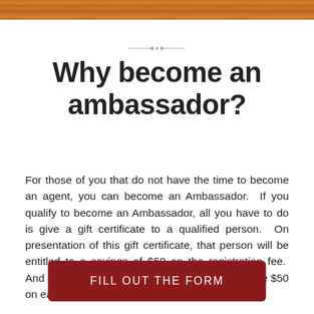[Figure (photo): Wood grain texture bar at the top of the page]
[Figure (illustration): Small decorative divider element with arrow-like lines]
Why become an ambassador?
For those of you that do not have the time to become an agent, you can become an Ambassador.  If you qualify to become an Ambassador, all you have to do is give a gift certificate to a qualified person.  On presentation of this gift certificate, that person will be entitled to a savings of $50 on the registration fee.  And once they become a member, you will receive $50 on each sale of the agent you have paired with.
FILL OUT THE FORM